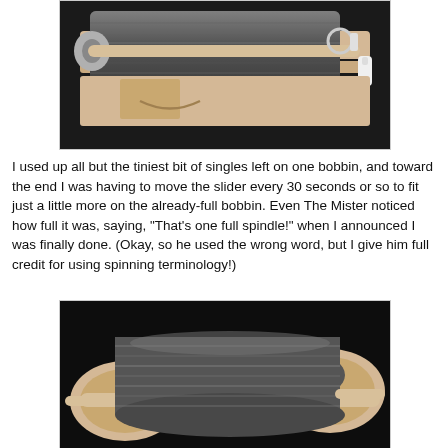[Figure (photo): Close-up photograph of a spinning wheel bobbin filled with dark grey yarn/singles, showing wooden parts and metal hardware including a slider mechanism.]
I used up all but the tiniest bit of singles left on one bobbin, and toward the end I was having to move the slider every 30 seconds or so to fit just a little more on the already-full bobbin. Even The Mister noticed how full it was, saying, "That's one full spindle!" when I announced I was finally done. (Okay, so he used the wrong word, but I give him full credit for using spinning terminology!)
[Figure (photo): Close-up photograph of a spinning wheel bobbin heavily loaded with dark grey yarn/singles, showing the wooden bobbin flanges and axle against a black background.]